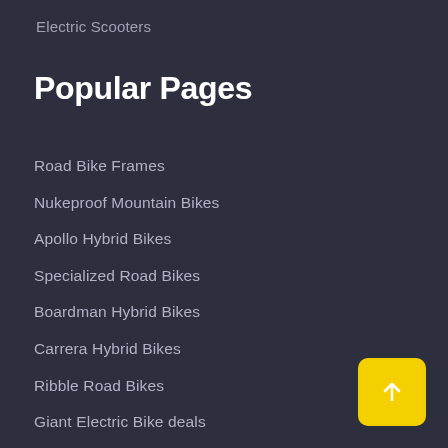Electric Scooters
Popular Pages
Road Bike Frames
Nukeproof Mountain Bikes
Apollo Hybrid Bikes
Specialized Road Bikes
Boardman Hybrid Bikes
Carrera Hybrid Bikes
Ribble Road Bikes
Giant Electric Bike deals
Orbea Hybrid Bikes
Carrera Junior Bikes